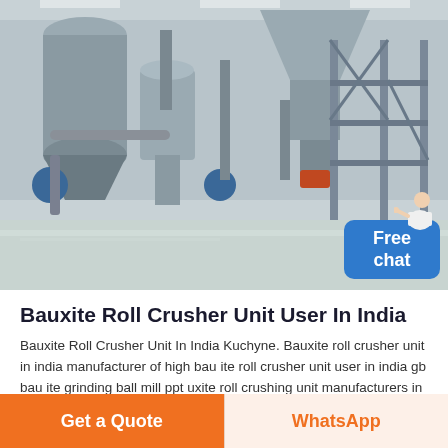[Figure (photo): Industrial manufacturing facility interior showing large grey machinery, silos, tanks, pipes, steel framework structures, and a polished concrete floor. Fluorescent ceiling lights visible.]
Bauxite Roll Crusher Unit User In India
Bauxite Roll Crusher Unit In India Kuchyne. Bauxite roll crusher unit in india manufacturer of high bau ite roll crusher unit user in india gb bau ite grinding ball mill ppt uxite roll crushing unit manufacturers in india eastman crusher company pvt ltd is the indias leading industrial pany in size of bauxite before grinding a mill is a device that breaks solid materials into smaller pieces by